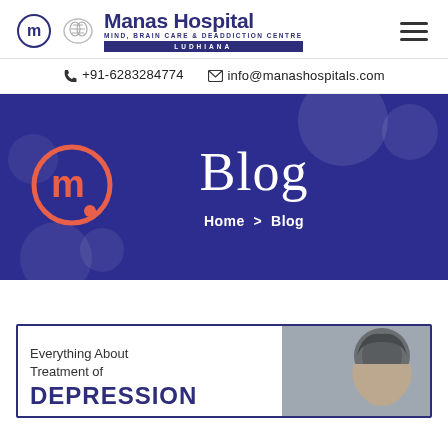[Figure (logo): Manas Hospital logo with brain icon and circular M emblem, text reads: Manas Hospital, Mind, Brain Care & Deaddiction Centre, Ludhiana]
+91-6283284774  info@manashospitals.com
[Figure (illustration): Dark blue/purple hero banner with decorative translucent circles, Manas Hospital circular M logo in coral/orange, text 'Blog' in large white serif font, breadcrumb 'Home > Blog' below]
Everything About Treatment of DEPRESSION